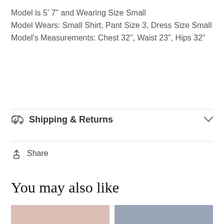Model is 5' 7" and Wearing Size Small
Model Wears: Small Shirt, Pant Size 3, Dress Size Small
Model's Measurements: Chest 32", Waist 23", Hips 32"
Shipping & Returns
Share
You may also like
[Figure (photo): Two product photos partially visible at the bottom of the page]